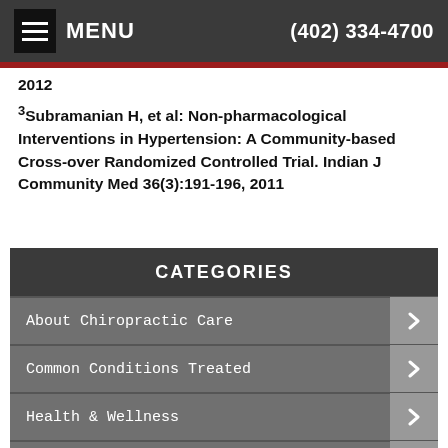MENU  (402) 334-4700
2012
³Subramanian H, et al: Non-pharmacological Interventions in Hypertension: A Community-based Cross-over Randomized Controlled Trial. Indian J Community Med 36(3):191-196, 2011
CATEGORIES
About Chiropractic Care
Common Conditions Treated
Health & Wellness
Therapies & Techniques
Newsletter